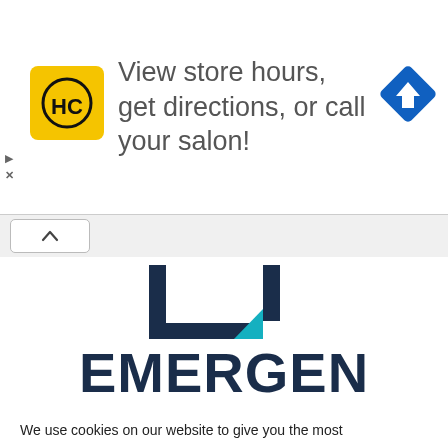[Figure (screenshot): Ad banner showing HC logo (yellow square with HC in black circle), text 'View store hours, get directions, or call your salon!', and a blue diamond navigation arrow icon on the right. Play and close (X) controls on the far left.]
[Figure (logo): Emergen Research logo: dark navy blue square bracket/U shape with a teal accent on the bottom right corner, and large bold dark navy text 'EMERGEN' below.]
We use cookies on our website to give you the most relevant experience by remembering your preferences and repeat visits. By clicking "Accept All", you consent to the use of ALL the cookies. However, you may visit "Cookie Settings" to provide a controlled consent.
Cookie Settings
Accept All